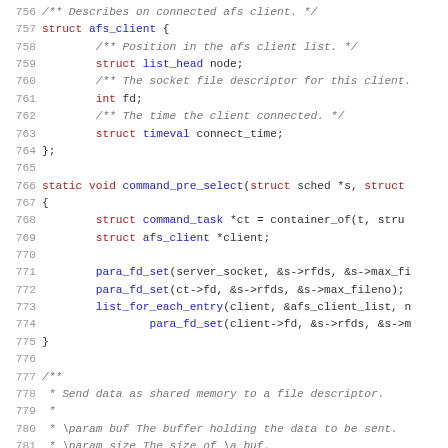Source code listing, lines 756–787, showing afs_client struct definition and command_pre_select function, plus start of Doxygen comment block for a function that sends shared memory data to a file descriptor.